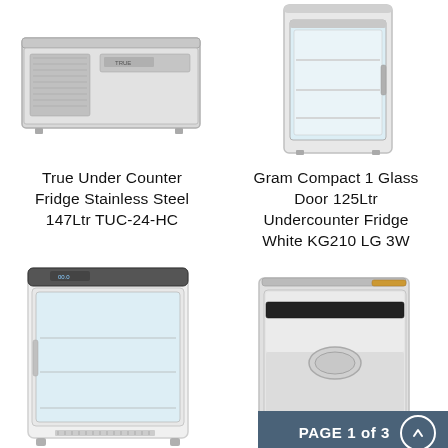[Figure (photo): Top-left product photo: True Under Counter Fridge Stainless Steel, compact horizontal unit viewed from slight angle above]
[Figure (photo): Top-right product photo: Gram Compact 1 Glass Door Undercounter Fridge, upright white unit with glass door panel]
True Under Counter Fridge Stainless Steel 147Ltr TUC-24-HC
Gram Compact 1 Glass Door 125Ltr Undercounter Fridge White KG210 LG 3W
[Figure (photo): Bottom-left product photo: white upright undercounter fridge with glass door showing interior shelves]
[Figure (photo): Bottom-right product photo: stainless steel undercounter fridge with solid door and oval logo badge]
PAGE 1 of 3